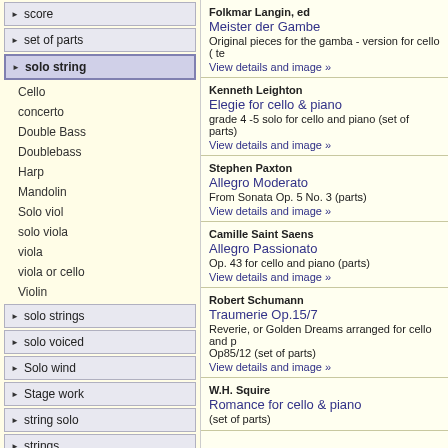score
set of parts
solo string
Cello
concerto
Double Bass
Doublebass
Harp
Mandolin
Solo viol
solo viola
viola
viola or cello
Violin
solo strings
solo voiced
Solo wind
Stage work
string solo
strings
strngs
Folkmar Langin, ed
Meister der Gambe
Original pieces for the gamba - version for cello ( te
View details and image »
Kenneth Leighton
Elegie for cello & piano
grade 4 -5 solo for cello and piano (set of parts)
View details and image »
Stephen Paxton
Allegro Moderato
From Sonata Op. 5 No. 3 (parts)
View details and image »
Camille Saint Saens
Allegro Passionato
Op. 43 for cello and piano (parts)
View details and image »
Robert Schumann
Traumerie Op.15/7
Reverie, or Golden Dreams arranged for cello and p Op85/12 (set of parts)
View details and image »
W.H. Squire
Romance for cello & piano
(set of parts)